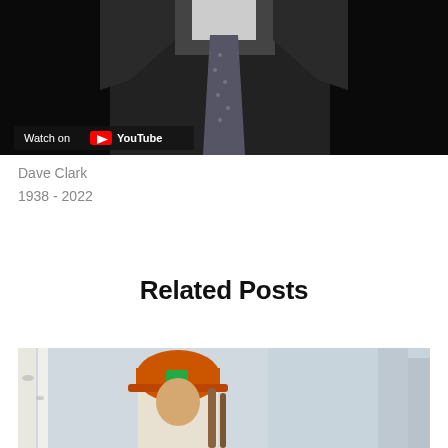[Figure (screenshot): Video thumbnail showing a man in a dark suit and tie in black and white, with a 'Watch on YouTube' badge in the lower left corner.]
Dave Clark
1938 - 2022
Related Posts
[Figure (photo): Partial photo of a person wearing an orange hard hat with a green logo, outdoors.]